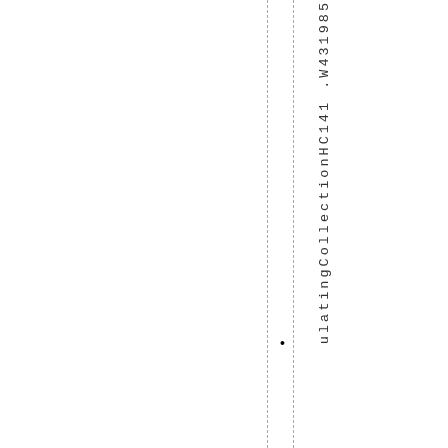ulatingCollectionHC141 .W431985